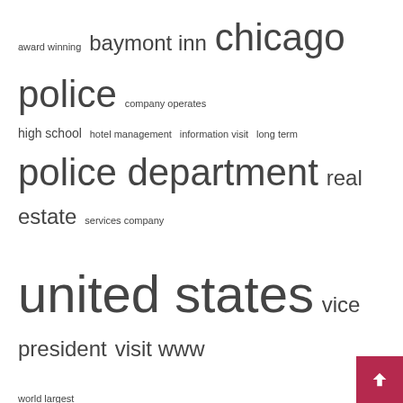[Figure (infographic): Word cloud with terms of varying font sizes: award winning, baymont inn, chicago police, company operates, high school, hotel management, information visit, long term, police department, real estate, services company, united states, vice president, visit www, world largest]
Recent Posts
Drug Charges Lead to Grand Jury Indictments | News, Sports, Jobs
SSI payments doubled in September, financial aid checks worth up to $1,000…
Two Illinois women plead guilty for their roles in the attack on the Capitol on January 6
Building a Future for Lovejoy Library